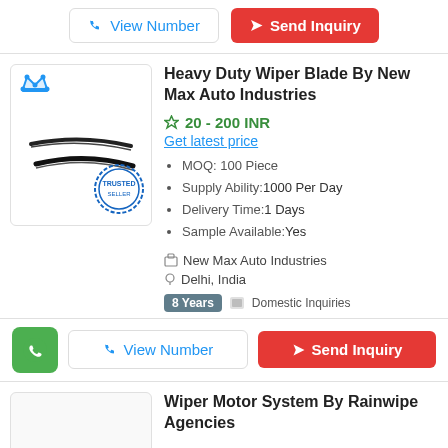[Figure (screenshot): View Number and Send Inquiry buttons at top of page]
[Figure (photo): Heavy Duty Wiper Blade product image with trusted stamp and crown icon]
Heavy Duty Wiper Blade By New Max Auto Industries
20 - 200 INR
Get latest price
MOQ: 100 Piece
Supply Ability:1000 Per Day
Delivery Time:1 Days
Sample Available:Yes
New Max Auto Industries
Delhi, India
8 Years  Domestic Inquiries
[Figure (screenshot): WhatsApp, View Number, and Send Inquiry action buttons]
Wiper Motor System By Rainwipe Agencies